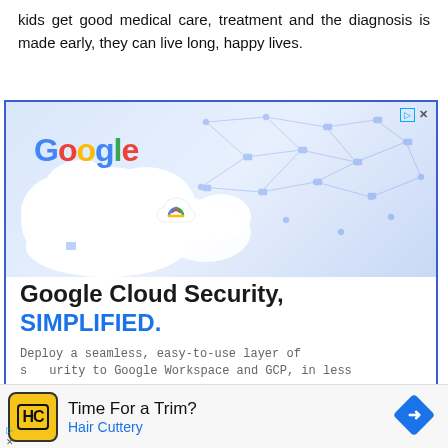kids get good medical care, treatment and the diagnosis is made early, they can live long, happy lives.
[Figure (screenshot): Google Cloud Security advertisement. Shows Google logo and Google Cloud logo on a cloud graphic with network/lock icons in background. Text reads 'Google Cloud Security, SIMPLIFIED.' with subtext 'Deploy a seamless, easy-to-use layer of security to Google Workspace and GCP, in less']
[Figure (screenshot): Hair Cuttery advertisement. Shows HC logo on yellow background. Text reads 'Time For a Trim?' and 'Hair Cuttery' in blue, with a blue navigation arrow icon on the right.]